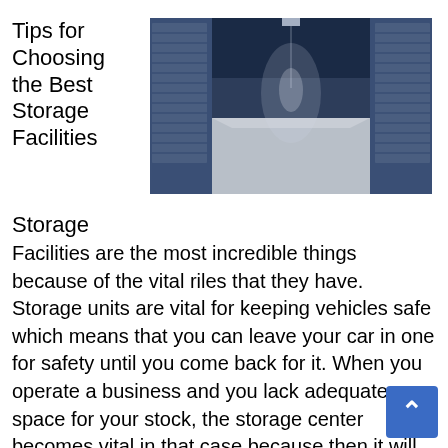Tips for Choosing the Best Storage Facilities
[Figure (photo): Interior hallway of a storage facility with blue roll-up doors on both sides and a polished grey concrete floor, perspective view toward the end of the corridor.]
Storage
Facilities are the most incredible things because of the vital riles that they have. Storage units are vital for keeping vehicles safe which means that you can leave your car in one for safety until you come back for it. When you operate a business and you lack adequate space for your stock, the storage center becomes vital in that case because then it will provide you with the ideal space that will keep them safe until you find a customer or clients to buy the goods. We all understand how moving